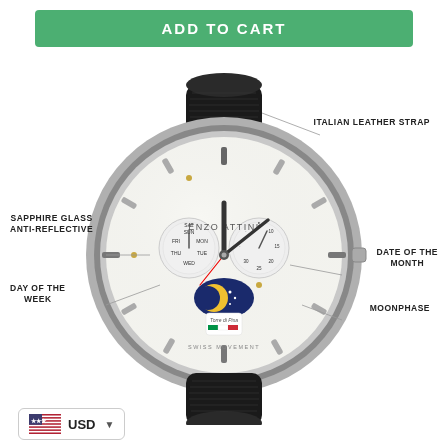ADD TO CART
[Figure (photo): Enzo Attini luxury watch with black Italian leather strap, silver case, moonphase complication, day of the week and date subdials, Swiss movement, Torre di Pisa logo on dial. Annotated with labels: ITALIAN LEATHER STRAP, SAPPHIRE GLASS ANTI-REFLECTIVE, DAY OF THE WEEK, DATE OF THE MONTH, MOONPHASE.]
ITALIAN LEATHER STRAP
SAPPHIRE GLASS ANTI-REFLECTIVE
DAY OF THE WEEK
DATE OF THE MONTH
MOONPHASE
USD ▼